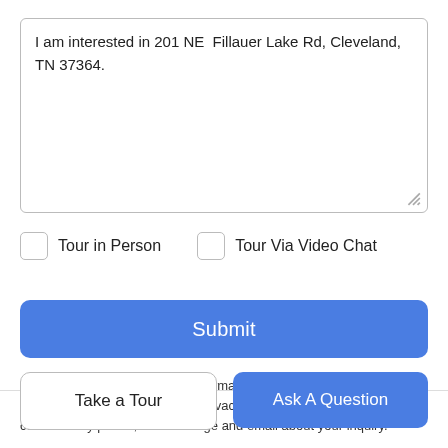I am interested in 201 NE  Fillauer Lake Rd, Cleveland, TN 37364.
Tour in Person
Tour Via Video Chat
Submit
Disclaimer: By entering your information and submitting this form, you agree to our Terms of Use and Privacy Policy and that you may be contacted by phone, text message and email about your inquiry.
Take a Tour
Ask A Question